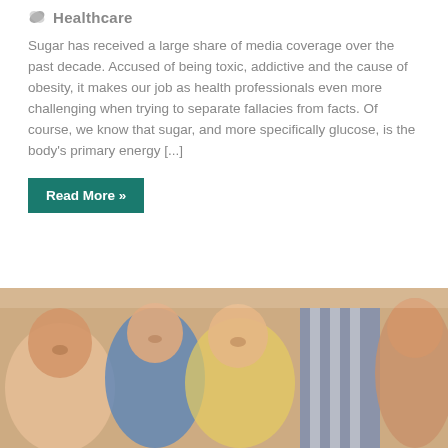Healthcare
Sugar has received a large share of media coverage over the past decade. Accused of being toxic, addictive and the cause of obesity, it makes our job as health professionals even more challenging when trying to separate fallacies from facts. Of course, we know that sugar, and more specifically glucose, is the body's primary energy [...]
Read More »
[Figure (photo): Group of smiling children holding food items, photographed from above at a slight angle]